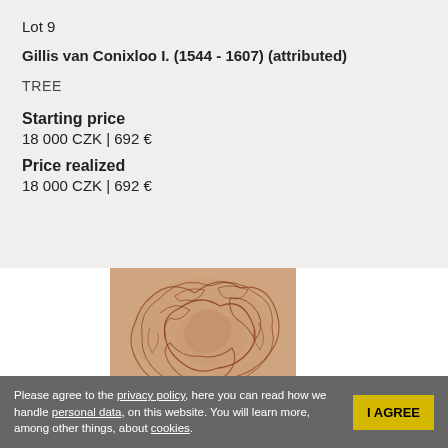Lot 9
Gillis van Conixloo I. (1544 - 1607) (attributed)
TREE
Starting price
18 000 CZK | 692 €
Price realized
18 000 CZK | 692 €
[Figure (photo): A reddish-brown chalk or ink drawing of a tree, showing swirling foliage and branches. The artwork appears to be on aged, tan-colored paper. Only the central portion of the image is visible, flanked by white panels on either side.]
Please agree to the privacy policy, here you can read how we handle personal data, on this website. You will learn more, among other things, about cookies.